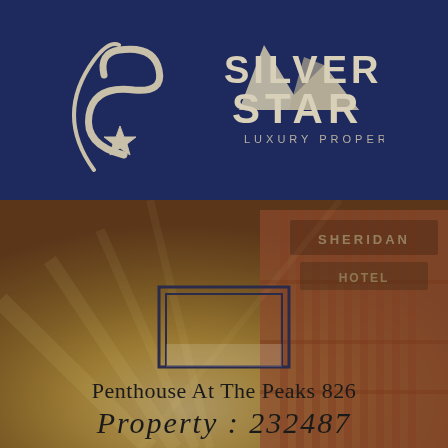[Figure (logo): Silver Star Luxury Properties logo — white cursive S with crescent and star, mountain silhouette, text SILVER STAR LUXURY PROPERTIES on dark navy background]
[Figure (photo): Background photo of a historic hotel building (Sheridan Hotel) at night with warm golden lighting and a double-bordered rectangle icon overlay]
Penthouse At The Peaks 826
Property : 232487